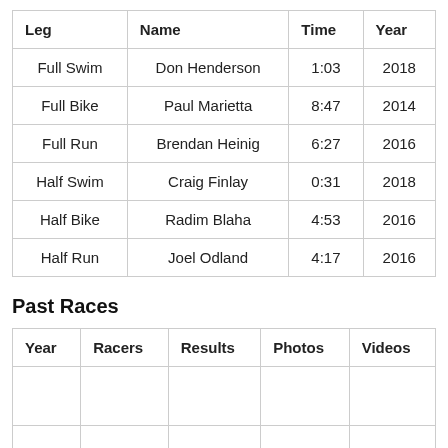| Leg | Name | Time | Year |
| --- | --- | --- | --- |
| Full Swim | Don Henderson | 1:03 | 2018 |
| Full Bike | Paul Marietta | 8:47 | 2014 |
| Full Run | Brendan Heinig | 6:27 | 2016 |
| Half Swim | Craig Finlay | 0:31 | 2018 |
| Half Bike | Radim Blaha | 4:53 | 2016 |
| Half Run | Joel Odland | 4:17 | 2016 |
Past Races
| Year | Racers | Results | Photos | Videos |
| --- | --- | --- | --- | --- |
|  |  |  |  |  |
| 2021 |  |  |  |  |
|  |  |  |  |  |